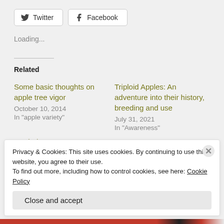[Figure (other): Twitter and Facebook social share buttons]
Loading...
Related
Some basic thoughts on apple tree vigor
October 10, 2014
In "apple variety"
Triploid Apples: An adventure into their history, breeding and use
July 31, 2021
In "Awareness"
On their own roots
Privacy & Cookies: This site uses cookies. By continuing to use this website, you agree to their use.
To find out more, including how to control cookies, see here: Cookie Policy
Close and accept